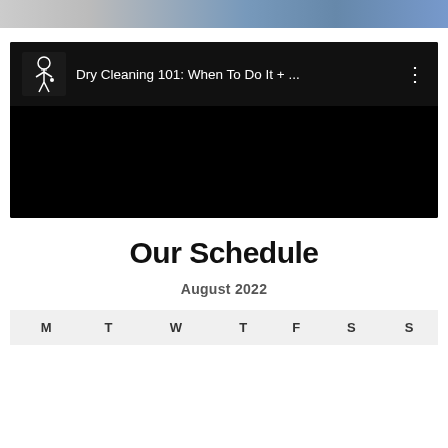[Figure (photo): Top banner image showing partial photo content]
[Figure (screenshot): YouTube video embed with black background showing 'Dry Cleaning 101: When To Do It + ...' title and channel icon of a man in a suit]
Our Schedule
August 2022
| M | T | W | T | F | S | S |
| --- | --- | --- | --- | --- | --- | --- |